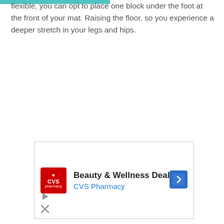flexible, you can opt to place one block under the foot at the front of your mat. Raising the floor, so you experience a deeper stretch in your legs and hips.
[Figure (screenshot): CVS Pharmacy advertisement banner showing 'Beauty & Wellness Deals' with CVS logo, a navigation arrow icon, play button, and close button.]